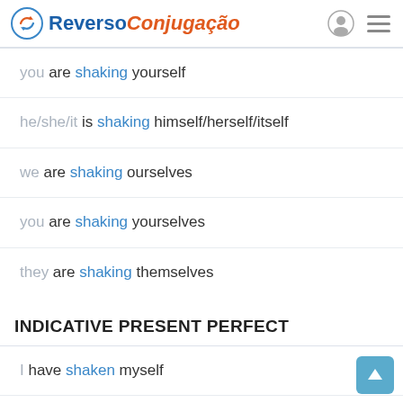Reverso Conjugação
you are shaking yourself
he/she/it is shaking himself/herself/itself
we are shaking ourselves
you are shaking yourselves
they are shaking themselves
INDICATIVE PRESENT PERFECT
I have shaken myself
you have shaken yourself
he/she/it has shaken himself/herself/itself
we have shaken ourselves